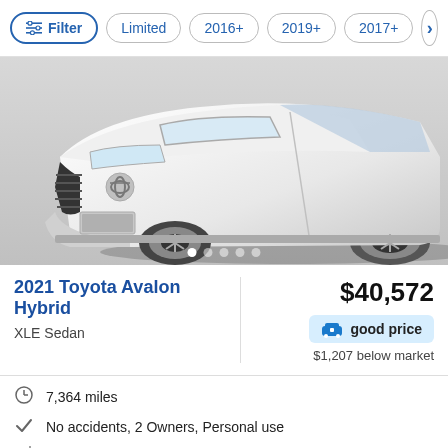Filter | Limited | 2016+ | 2019+ | 2017+ | >
[Figure (photo): Front view of a white 2021 Toyota Avalon Hybrid sedan with image carousel dots below]
2021 Toyota Avalon Hybrid
XLE Sedan
$40,572
good price
$1,207 below market
7,364 miles
No accidents, 2 Owners, Personal use
4cyl Automatic
Driveway (In-stock online)